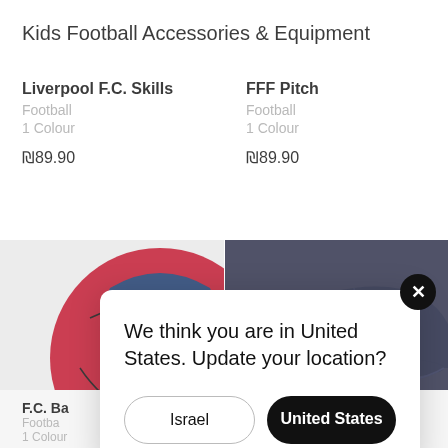Kids Football Accessories & Equipment
Liverpool F.C. Skills
Football
1 Colour
₪89.90
FFF Pitch
Football
1 Colour
₪89.90
[Figure (photo): A red and blue Nike Barcelona football (Futsal Maestro) with yellow Nike swoosh and Barcelona FC badge]
[Figure (photo): A dark navy blue FFF (France Football Federation) baseball cap with white rooster logo on black background]
F.C. Ba
Footba
1 Colour
Kids Hat
1 Colour
We think you are in United States. Update your location?
Israel
United States